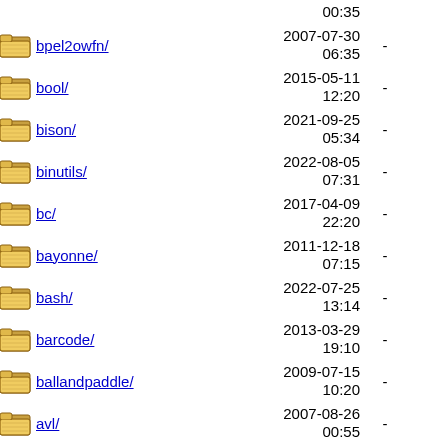bpel2owfn/ 2007-07-30 06:35 -
bool/ 2015-05-11 12:20 -
bison/ 2021-09-25 05:34 -
binutils/ 2022-08-05 07:31 -
bc/ 2017-04-09 22:20 -
bayonne/ 2011-12-18 07:15 -
bash/ 2022-07-25 13:14 -
barcode/ 2013-03-29 19:10 -
ballandpaddle/ 2009-07-15 10:20 -
avl/ 2007-08-26 00:55 -
automake/ 2021-10-03 23:26 -